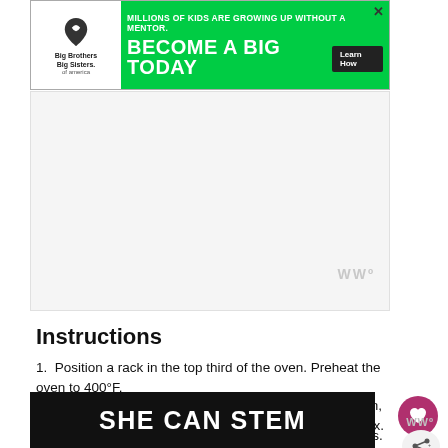[Figure (other): Big Brothers Big Sisters advertisement banner with green background. Text reads: MILLIONS OF KIDS ARE GROWING UP WITHOUT A MENTOR. BECOME A BIG TODAY. Learn How button.]
[Figure (other): White advertisement placeholder area with Mediavine watermark logo in gray at right side.]
Instructions
Position a rack in the top third of the oven. Preheat the oven to 400°F.
Combine the avocado, grapefruit, lime juice, red onion, cilantro and salt in a small mixing bowl. Toss gently to mix. Set aside.
Season the salmon with salt and pepper on both sides. Lightly oil a baking sheet. Place
[Figure (other): Dark banner advertisement with text SHE CAN STEM in large white bold letters.]